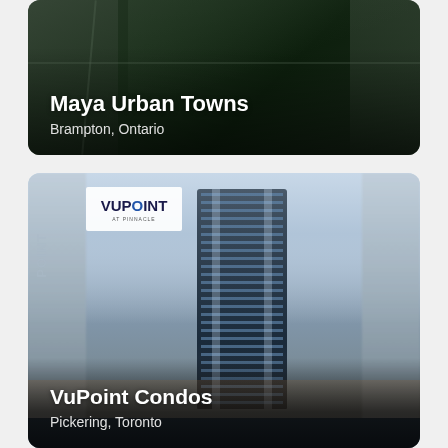[Figure (photo): Maya Urban Towns real estate listing card showing aerial/overhead view of a development with roads and green space in Brampton, Ontario]
Maya Urban Towns
Brampton, Ontario
[Figure (photo): VuPoint Condos real estate listing card showing a tall modern high-rise tower rendering against a twilight sky in Pickering, Toronto, with VuPoint logo]
VuPoint Condos
Pickering, Toronto